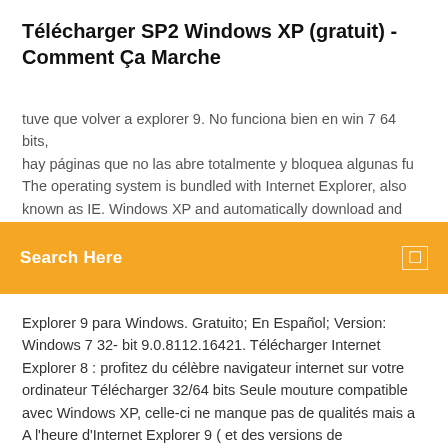Télécharger SP2 Windows XP (gratuit) - Comment Ça Marche
tuve que volver a explorer 9. No funciona bien en win 7 64 bits, hay páginas que no las abre totalmente y bloquea algunas fu The operating system is bundled with Internet Explorer, also known as IE. Windows XP and automatically download and
[Figure (other): Orange search bar overlay with text 'Search Here' and a search icon on the right]
Explorer 9 para Windows. Gratuito; En Español; Version: Windows 7 32- bit 9.0.8112.16421. Télécharger Internet Explorer 8 : profitez du célèbre navigateur internet sur votre ordinateur Télécharger 32/64 bits Seule mouture compatible avec Windows XP, celle-ci ne manque pas de qualités mais a A l'heure d'Internet Explorer 9 ( et des versions de développement d'IE10), Internet Explorer 8 est toujours  Auch die Geschwindigkeit und die Bedienbarkeit wurde gegenüber dem Vorgänger verbessert. 32-Bit; 64-Bit. Was ist das? 11 Jan 2019